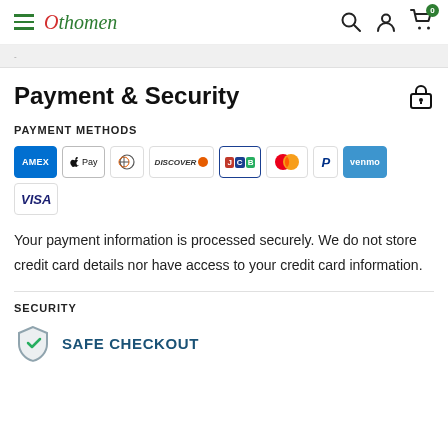Othomen — navigation header with hamburger menu, logo, search, account, cart (0)
Payment & Security
PAYMENT METHODS
[Figure (other): Row of payment method icons: AMEX, Apple Pay, Diners Club, Discover, JCB, Mastercard, PayPal, Venmo, VISA]
Your payment information is processed securely. We do not store credit card details nor have access to your credit card information.
SECURITY
[Figure (other): Shield icon with checkmark (safe checkout)]
SAFE CHECKOUT